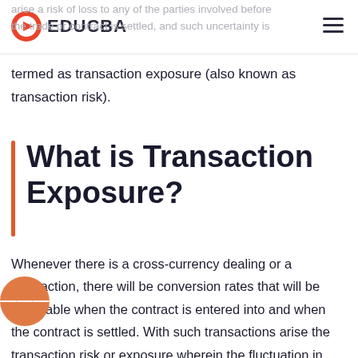EDUCBA
arise a risk of loss to any of the parties involved before the trade or contract is settled, and such uncertainty is termed as transaction exposure (also known as transaction risk).
What is Transaction Exposure?
Whenever there is a cross-currency dealing or a transaction, there will be conversion rates that will be applicable when the contract is entered into and when the contract is settled. With such transactions arise the transaction risk or exposure wherein the fluctuation in such rates will cause either of the parties to suffer risk of paying more or receiving less as rising